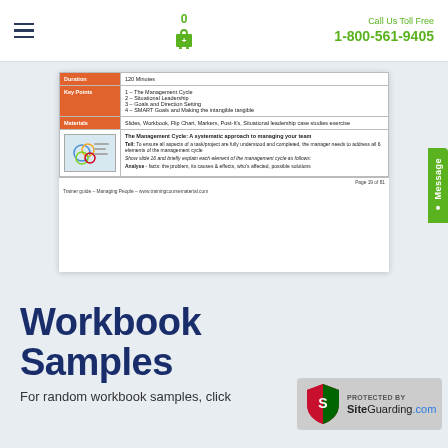Menu | Cart 0 | Call Us Toll Free 1-800-561-9405
[Figure (screenshot): Document preview showing a training guide table with Duration (120 Minutes), Key Points (1-The Management Cycle, 2-Situational Leadership, 3-Goals and Direction Setting, 4-SMART Goals and Making the intangible tangible), Materials (Slides, Workbook, Flip Chart, Markers, Post-It's, Situational leadership case studies exercise), and content section about The Management Cycle. Footer: Page 19 of 81, Trainer guide – Managing People – www.trainingcoursematerial.com]
Workbook Samples
For random workbook samples, click